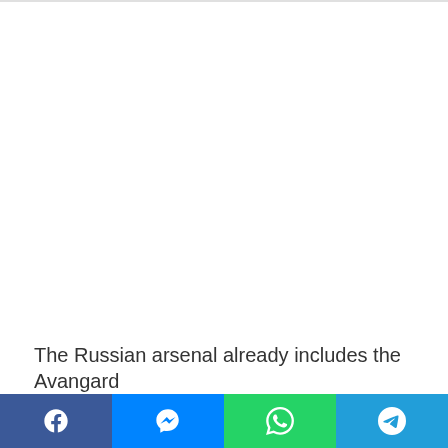The Russian arsenal already includes the Avangard
[Figure (other): Social sharing bar with Facebook, Messenger, WhatsApp, and Telegram buttons]